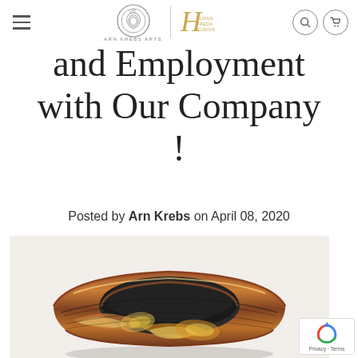Arn Krebs Arts | Susan Freda Studios — navigation header with menu, logos, search and cart icons
and Employment with Our Company !
Posted by Arn Krebs on April 08, 2020
[Figure (photo): Close-up photograph of a decorative metal ring (mokume-gane style) with layered copper, gold, and dark metal patterns, shown on a light background.]